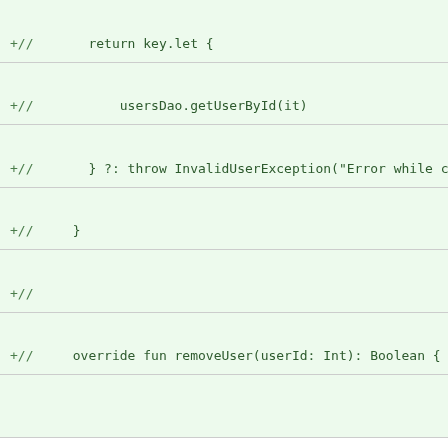+//      return key.let {
+//          usersDao.getUserById(it)
+//      } ?: throw InvalidUserException("Error while cre
+//    }
+//
+//    override fun removeUser(userId: Int): Boolean {